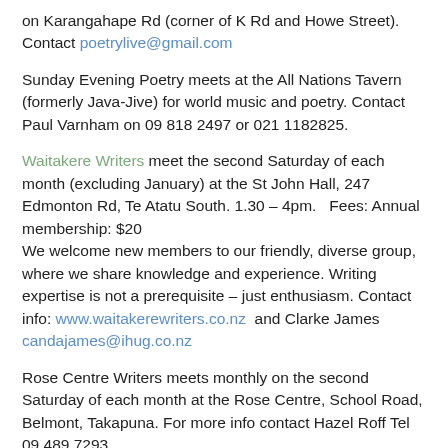on Karangahape Rd (corner of K Rd and Howe Street). Contact poetrylive@gmail.com
Sunday Evening Poetry meets at the All Nations Tavern (formerly Java-Jive) for world music and poetry. Contact Paul Varnham on 09 818 2497 or 021 1182825.
Waitakere Writers meet the second Saturday of each month (excluding January) at the St John Hall, 247 Edmonton Rd, Te Atatu South. 1.30 – 4pm.   Fees: Annual membership: $20
We welcome new members to our friendly, diverse group, where we share knowledge and experience. Writing expertise is not a prerequisite – just enthusiasm. Contact info: www.waitakerewriters.co.nz  and Clarke James candajames@ihug.co.nz
Rose Centre Writers meets monthly on the second Saturday of each month at the Rose Centre, School Road, Belmont, Takapuna. For more info contact Hazel Roff Tel 09 489 7293